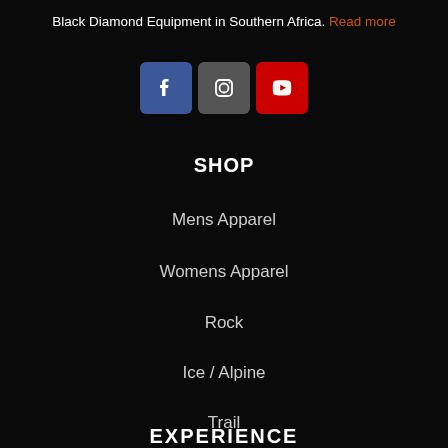Black Diamond Equipment in Southern Africa. Read more
[Figure (illustration): Social media icon buttons: Facebook (blue), Instagram (dark gray), YouTube (red)]
SHOP
Mens Apparel
Womens Apparel
Rock
Ice / Alpine
Trail
EXPERIENCE